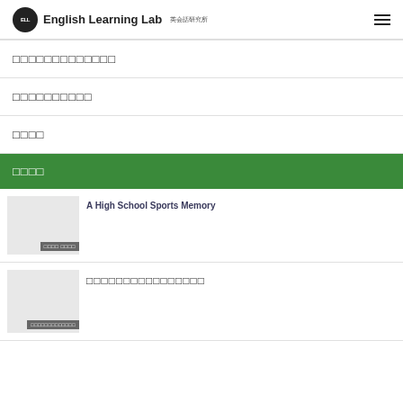English Learning Lab 英会話研究所
□□□□□□□□□□□□□
□□□□□□□□□□
□□□□
□□□□
A High School Sports Memory
□□□□ □□□□
□□□□□□□□□□□□□□□□
□□□□□□□□□□□□□